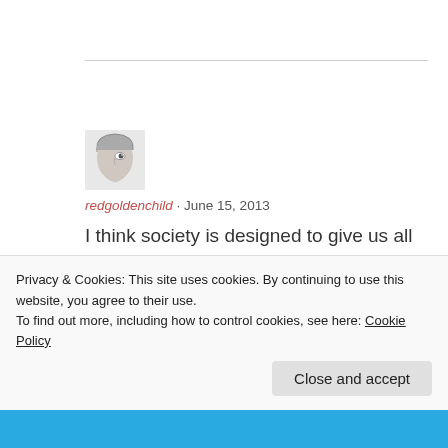[Figure (photo): Small avatar image of a person's face, partially visible, sketch-like or low-res black and white photo]
redgoldenchild · June 15, 2013
I think society is designed to give us all mental health problems! There is a lack of support for mental health and too much support for
Privacy & Cookies: This site uses cookies. By continuing to use this website, you agree to their use.
To find out more, including how to control cookies, see here: Cookie Policy
Close and accept